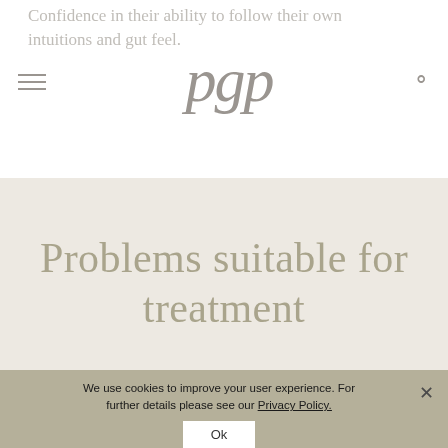Confidence in their ability to follow their own intuitions and gut feel.
[Figure (logo): pgp logo in italic serif font, grey color]
Problems suitable for treatment
We use cookies to improve your user experience. For further details please see our Privacy Policy.
Ok
0116 2700 373   Enquire